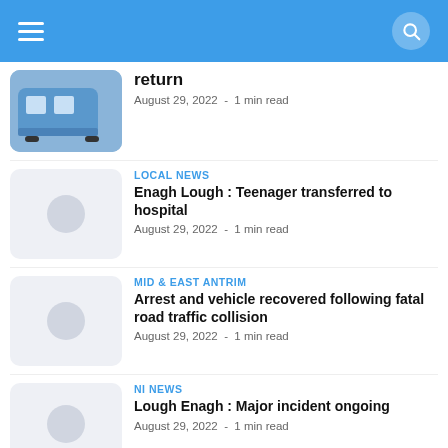return
August 29, 2022 - 1 min read
LOCAL NEWS
Enagh Lough : Teenager transferred to hospital
August 29, 2022 - 1 min read
MID & EAST ANTRIM
Arrest and vehicle recovered following fatal road traffic collision
August 29, 2022 - 1 min read
NI NEWS
Lough Enagh : Major incident ongoing
August 29, 2022 - 1 min read